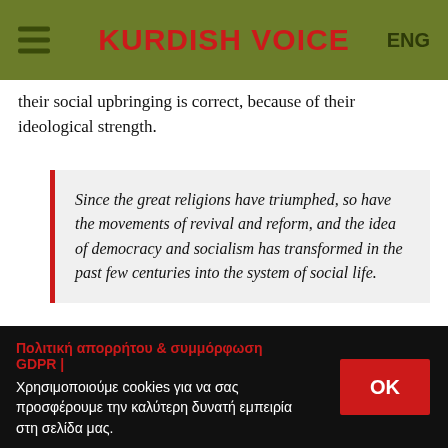KURDISH VOICE | ENG
their social upbringing is correct, because of their ideological strength.
Since the great religions have triumphed, so have the movements of revival and reform, and the idea of democracy and socialism has transformed in the past few centuries into the system of social life.
Πολιτική απορρήτου & συμμόρφωση GDPR | Χρησιμοποιούμε cookies για να σας προσφέρουμε την καλύτερη δυνατή εμπειρία στη σελίδα μας. OK